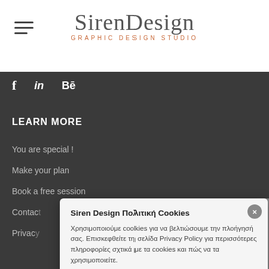[Figure (logo): Siren Design graphic design studio logo with hamburger menu icon on left]
f  in  Bē
LEARN MORE
You are special !
Make your plan
Book a free session
Contact
Privacy
Siren Design Πολιτική Cookies
Χρησιμοποιούμε cookies για να βελτιώσουμε την πλοήγησή σας. Επισκεφθείτε τη σελίδα Privacy Policy για περισσότερες πληροφορίες σχτικά με τα cookies και πώς να τα χρησιμοποιείτε.